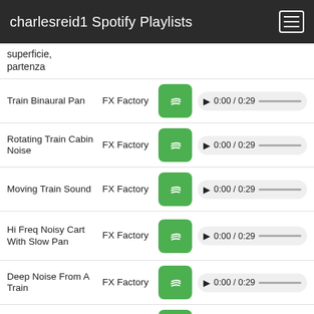charlesreid1 Spotify Playlists
superficie, partenza
Train Binaural Pan | FX Factory | 0:00 / 0:29
Rotating Train Cabin Noise | FX Factory | 0:00 / 0:29
Moving Train Sound | FX Factory | 0:00 / 0:29
Hi Freq Noisy Cart With Slow Pan | FX Factory | 0:00 / 0:29
Deep Noise From A Train | FX Factory | 0:00 / 0:29
Night Train | The Railwayers | 0:00 / 0:29